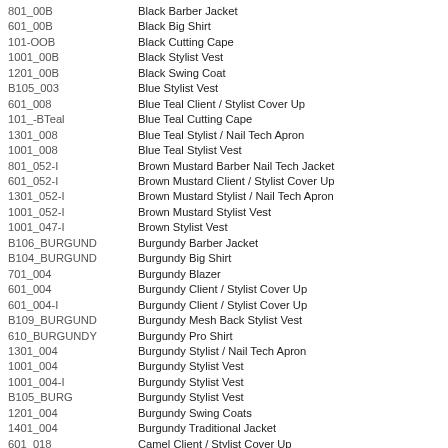801_00B	Black Barber Jacket
601_00B	Black Big Shirt
101-OOB	Black Cutting Cape
1001_00B	Black Stylist Vest
1201_00B	Black Swing Coat
B105_003	Blue Stylist Vest
601_008	Blue Teal Client / Stylist Cover Up
101_-BTeal	Blue Teal Cutting Cape
1301_008	Blue Teal Stylist / Nail Tech Apron
1001_008	Blue Teal Stylist Vest
801_052-I	Brown Mustard Barber Nail Tech Jacket
601_052-I	Brown Mustard Client / Stylist Cover Up
1301_052-I	Brown Mustard Stylist / Nail Tech Apron
1001_052-I	Brown Mustard Stylist Vest
1001_047-I	Brown Stylist Vest
B106_BURGUND	Burgundy Barber Jacket
B104_BURGUND	Burgundy Big Shirt
701_004	Burgundy Blazer
601_004	Burgundy Client / Stylist Cover Up
601_004-I	Burgundy Client / Stylist Cover Up
B109_BURGUND	Burgundy Mesh Back Stylist Vest
610_BURGUNDY	Burgundy Pro Shirt
1301_004	Burgundy Stylist / Nail Tech Apron
1001_004	Burgundy Stylist Vest
1001_004-I	Burgundy Stylist Vest
B105_BURG	Burgundy Stylist Vest
1201_004	Burgundy Swing Coats
1401_004	Burgundy Traditional Jacket
601_018	Camel Client / Stylist Cover Up